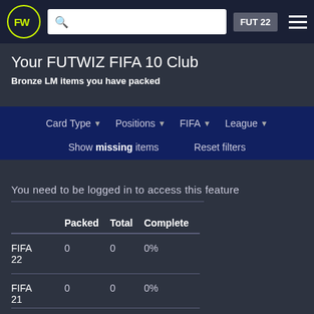FUTWIZ FUT 22
Your FUTWIZ FIFA 10 Club
Bronze LM items you have packed
Card Type   Positions   FIFA   League
Show missing items   Reset filters
You need to be logged in to access this feature
|  | Packed | Total | Complete |
| --- | --- | --- | --- |
| FIFA 22 | 0 | 0 | 0% |
| FIFA 21 | 0 | 0 | 0% |